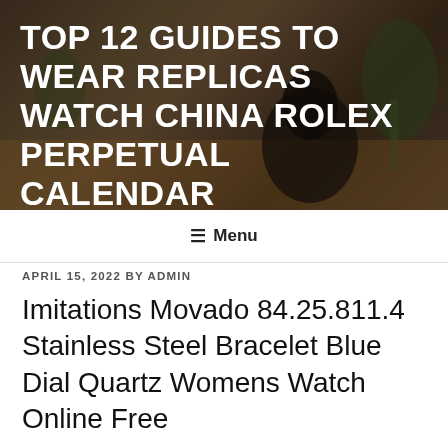[Figure (photo): Website header banner with blurred background showing a dark vase and plants on a wooden table]
TOP 12 GUIDES TO WEAR REPLICAS WATCH CHINA ROLEX PERPETUAL CALENDAR
≡ Menu
APRIL 15, 2022 BY ADMIN
Imitations Movado 84.25.811.4 Stainless Steel Bracelet Blue Dial Quartz Womens Watch Online Free
Imitations Movado 84.25.811.4